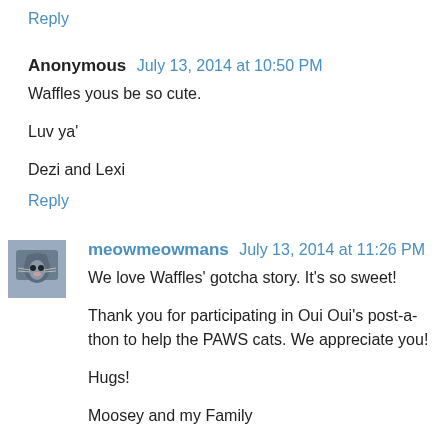Reply
Anonymous July 13, 2014 at 10:50 PM
Waffles yous be so cute.

Luv ya'

Dezi and Lexi
Reply
meowmeowmans July 13, 2014 at 11:26 PM
We love Waffles' gotcha story. It's so sweet!

Thank you for participating in Oui Oui's post-a-thon to help the PAWS cats. We appreciate you!

Hugs!

Moosey and my Family